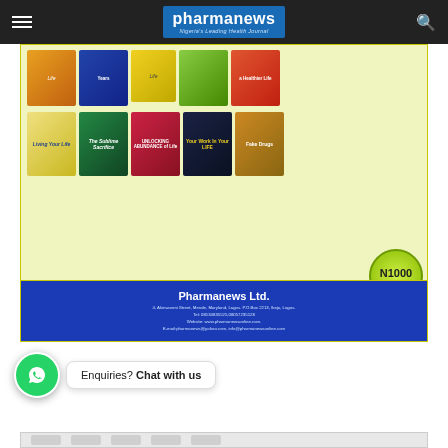pharmanews — Nigeria's Leading Health Journal
[Figure (photo): Advertisement for Pharmanews book collection showing multiple book covers arranged in rows on a yellow-green background, with payment instructions, N1000 price badge, and blue company footer bar.]
Payment to be made in favour of Pharmanews Ltd. to Zenith Bank Plc. A/C No: 1019701673 You can also pay through our Remita portal, simply visit: https://login.remita.net/remita/external/PHARMANEWS/collector/payment.reg For further inquiries contact, Chiazor: 08134835525   Elizabeth: 08057235128
N1000 each
For delivery:
N 500 (within Lagos)
N 1500 (outside Lagos)
Pharmanews Ltd.
4, Akinwunmi Street, Mende, Maryland, Lagos. P.O.Box 2213, Ikeja, Lagos.
Tel: 08134835525,08057235128
Website: www.pharmanewsonline.com.
E-mail:pharmanews@yahoo.com, info@pharmanewsonline.com
Enquiries? Chat with us